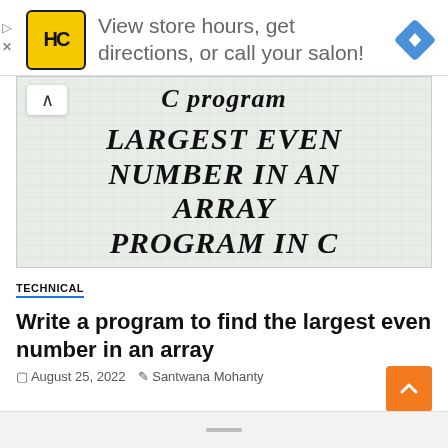[Figure (screenshot): Advertisement banner for a salon store locator service with HC logo, text 'View store hours, get directions, or call your salon!' and a blue navigation diamond icon]
[Figure (illustration): Illustrated thumbnail on graph paper background showing 'C program' in cursive script at top, and bold italic text 'LARGEST EVEN NUMBER IN AN ARRAY PROGRAM IN C' below]
TECHNICAL
Write a program to find the largest even number in an array
August 25, 2022   Santwana Mohanty